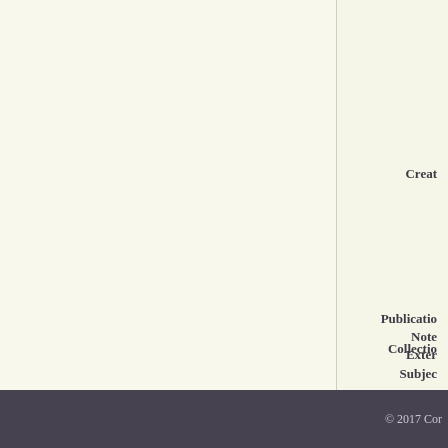Creator
Publication Note
Extent
Subject
Collection
© 2017 Cor